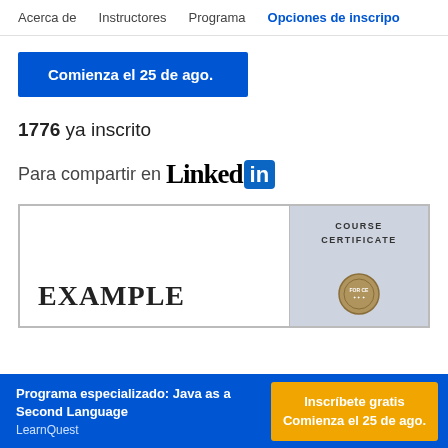Acerca de   Instructores   Programa   Opciones de inscripo
Comienza el 25 de ago.
1776 ya inscrito
Para compartir en LinkedIn
[Figure (other): Course certificate preview showing EXAMPLE text on left half and COURSE CERTIFICATE label on right half with a decorative seal]
Programa especializado: Java as a Second Language
LearnQuest
Inscríbete gratis
Comienza el 25 de ago.